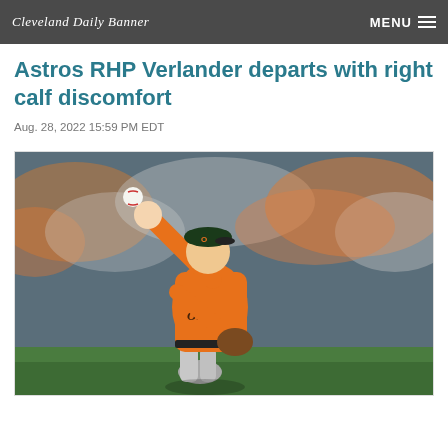Cleveland Daily Banner
Astros RHP Verlander departs with right calf discomfort
Aug. 28, 2022 15:59 PM EDT
[Figure (photo): Baseball pitcher in orange Baltimore Orioles uniform mid-windup, throwing a pitch. Stadium crowd visible in background.]